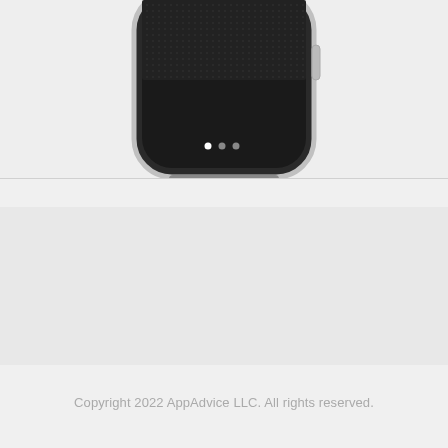[Figure (photo): Bottom portion of an Apple Watch with a black screen showing three dots (pagination indicators), silver aluminum case, visible crown on the right side, against a light gray background.]
Developer
Bharat Gulati
[Figure (logo): Apple logo icon in gray]
Copyright 2022 AppAdvice LLC. All rights reserved.